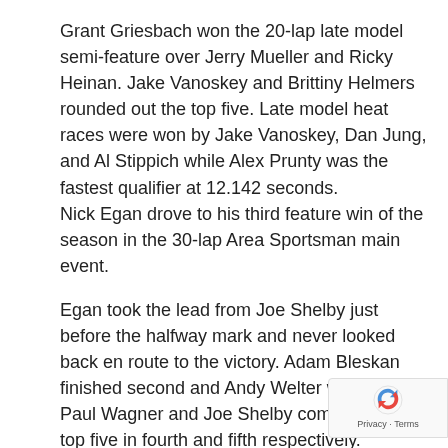Grant Griesbach won the 20-lap late model semi-feature over Jerry Mueller and Ricky Heinan. Jake Vanoskey and Brittiny Helmers rounded out the top five. Late model heat races were won by Jake Vanoskey, Dan Jung, and Al Stippich while Alex Prunty was the fastest qualifier at 12.142 seconds. Nick Egan drove to his third feature win of the season in the 30-lap Area Sportsman main event.
Egan took the lead from Joe Shelby just before the halfway mark and never looked back en route to the victory. Adam Bleskan finished second and Andy Welter was third. Paul Wagner and Joe Shelby completed the top five in fourth and fifth respectively.
Andy Welter also won the Area Sportsman heat race and Nick Egan was the fastest qualifier with a lap of 12.967 seconds.